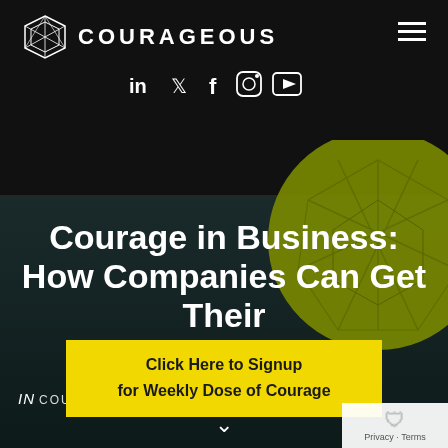COURAGEOUS
[Figure (logo): Courageous logo with geometric diamond/polygon icon and text COURAGEOUS in white on dark background]
[Figure (infographic): Social media icons row: LinkedIn, Twitter, Facebook, Instagram, YouTube]
[Figure (illustration): Dark background with olive/yellow-green geometric polygon decorative circle on the right side, dark tree/splash silhouette in center]
Courage in Business: How Companies Can Get Their
Click Here to Signup for Weekly Dose of Courage
IN COURAGEOUS
Privacy · Terms